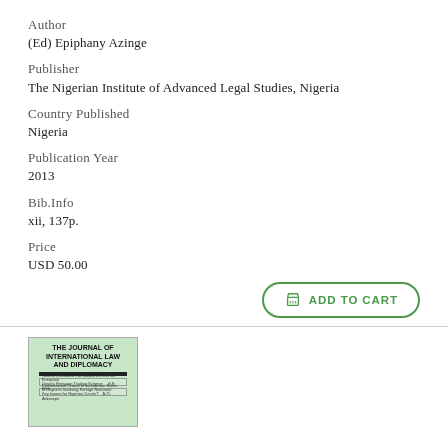Author
(Ed) Epiphany Azinge
Publisher
The Nigerian Institute of Advanced Legal Studies, Nigeria
Country Published
Nigeria
Publication Year
2013
Bib.Info
xii, 137p.
Price
USD 50.00
[Figure (illustration): Book cover thumbnail for The Journal of International Law and Diplomacy, green background with bold title and article listings]